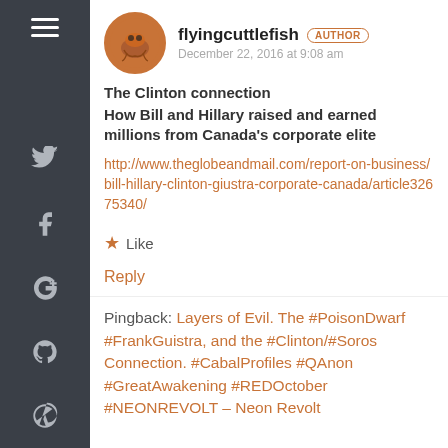flyingcuttlefish AUTHOR
December 22, 2016 at 9:08 am
The Clinton connection
How Bill and Hillary raised and earned millions from Canada's corporate elite
http://www.theglobeandmail.com/report-on-business/bill-hillary-clinton-giustra-corporate-canada/article32675340/
★ Like
Reply
Pingback: Layers of Evil. The #PoisonDwarf #FrankGuistra, and the #Clinton/#Soros Connection. #CabalProfiles #QAnon #GreatAwakening #REDOctober #NEONREVOLT – Neon Revolt